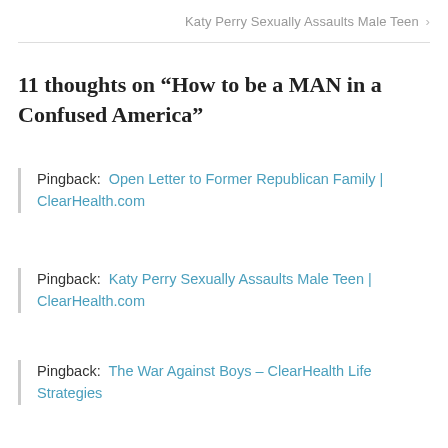Katy Perry Sexually Assaults Male Teen >
11 thoughts on “How to be a MAN in a Confused America”
Pingback: Open Letter to Former Republican Family | ClearHealth.com
Pingback: Katy Perry Sexually Assaults Male Teen | ClearHealth.com
Pingback: The War Against Boys – ClearHealth Life Strategies